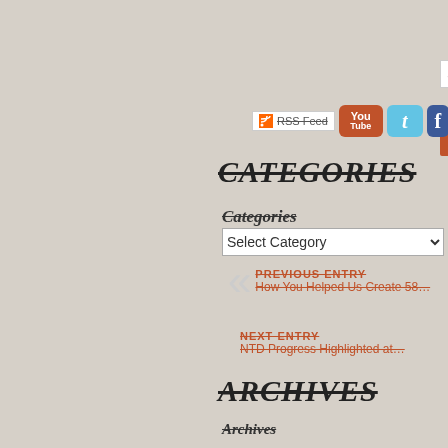Search …
Search
[Figure (screenshot): Social media icons: RSS Feed badge, YouTube button, Twitter button, Facebook button]
CATEGORIES
Categories
Select Category
PREVIOUS ENTRY
How You Helped Us Create 58…
NEXT ENTRY
NTD Progress Highlighted at…
ARCHIVES
Archives
Select Month
BLOGROLL
Blog 4 Global Health